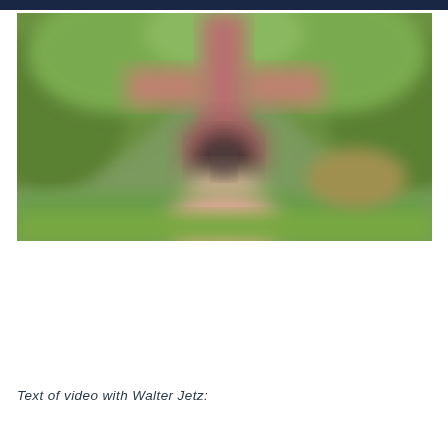[Figure (photo): Blurred outdoor photograph showing a brick archway or cross-like structure surrounded by green trees and lawn, with a path leading through an arch in the background. The image is intentionally blurred/out of focus.]
Text of video with Walter Jetz: